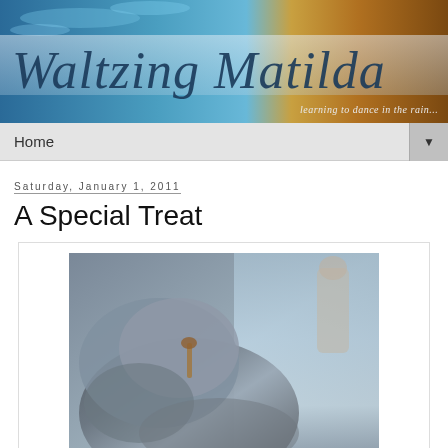[Figure (illustration): Waltzing Matilda blog header banner with water splash background in blue and golden-brown tones, cursive title text 'Waltzing Matilda' and subtitle 'learning to dance in the rain...']
Home ▼
Saturday, January 1, 2011
A Special Treat
[Figure (photo): Close-up photograph of a stuffed animal or plush toy with a treat/chew, sitting on what appears to be soft fabric near a window, with a decorative statue visible in the background]